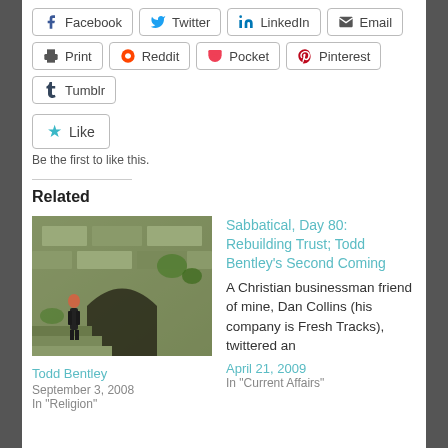[Figure (screenshot): Social share buttons row 1: Facebook, Twitter, LinkedIn, Email]
[Figure (screenshot): Social share buttons row 2: Print, Reddit, Pocket, Pinterest]
[Figure (screenshot): Social share button row 3: Tumblr]
[Figure (screenshot): Like button with star icon]
Be the first to like this.
Related
[Figure (photo): Photo of a person on ancient stone steps with arch]
Todd Bentley
September 3, 2008
In "Religion"
Sabbatical, Day 80: Rebuilding Trust; Todd Bentley's Second Coming
A Christian businessman friend of mine, Dan Collins (his company is Fresh Tracks), twittered an
April 21, 2009
In "Current Affairs"